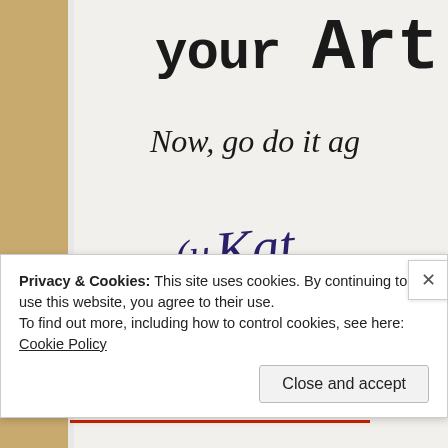[Figure (photo): A photo of a book or card page showing partial text 'your Art', 'Now, go do it ag...' and a handwritten signature 'Kat.' with a barcode at the bottom. Left side shows a tan/beige spine strip and a blue corner element.]
Privacy & Cookies: This site uses cookies. By continuing to use this website, you agree to their use.
To find out more, including how to control cookies, see here: Cookie Policy
Close and accept